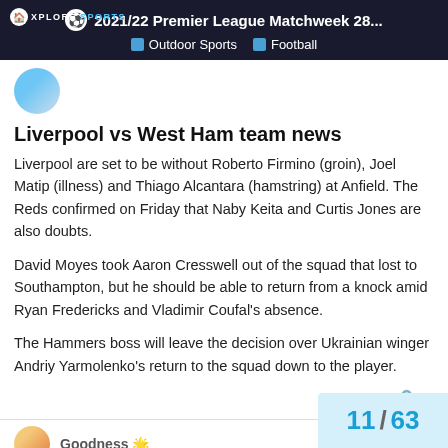2021/22 Premier League Matchweek 28... | Outdoor Sports | Football
Liverpool vs West Ham team news
Liverpool are set to be without Roberto Firmino (groin), Joel Matip (illness) and Thiago Alcantara (hamstring) at Anfield. The Reds confirmed on Friday that Naby Keita and Curtis Jones are also doubts.
David Moyes took Aaron Cresswell out of the squad that lost to Southampton, but he should be able to return from a knock amid Ryan Fredericks and Vladimir Coufal's absence.
The Hammers boss will leave the decision over Ukrainian winger Andriy Yarmolenko's return to the squad down to the player.
11 / 63